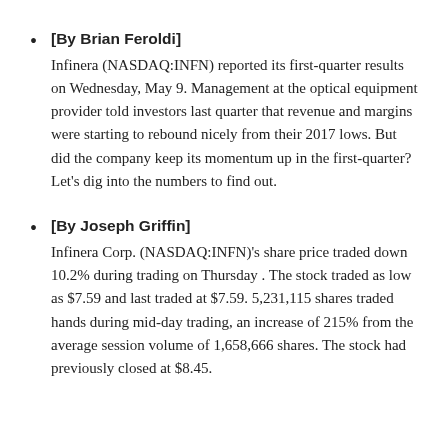[By Brian Feroldi] Infinera (NASDAQ:INFN) reported its first-quarter results on Wednesday, May 9. Management at the optical equipment provider told investors last quarter that revenue and margins were starting to rebound nicely from their 2017 lows. But did the company keep its momentum up in the first-quarter? Let's dig into the numbers to find out.
[By Joseph Griffin] Infinera Corp. (NASDAQ:INFN)'s share price traded down 10.2% during trading on Thursday . The stock traded as low as $7.59 and last traded at $7.59. 5,231,115 shares traded hands during mid-day trading, an increase of 215% from the average session volume of 1,658,666 shares. The stock had previously closed at $8.45.